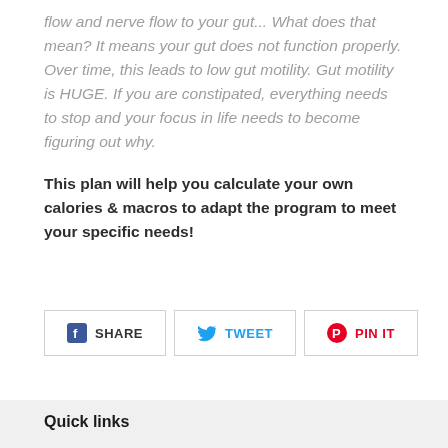flow and nerve flow to your gut... What does that mean? It means your gut does not function properly. Over time, this leads to low gut motility. Gut motility is HUGE. If you are constipated, everything needs to stop and your focus in life needs to become figuring out why.
This plan will help you calculate your own calories & macros to adapt the program to meet your specific needs!
[Figure (other): Social sharing buttons: Facebook SHARE, Twitter TWEET, Pinterest PIN IT]
Quick links